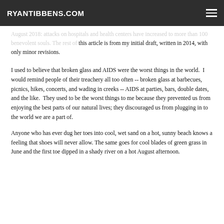RYANTIBBENS.COM
August 2018: attacks on hospitals and health centers have increased to more than 100 benevolent souls. The rest of this article is from my initial draft, written in 2014, with only minor revisions.
I used to believe that broken glass and AIDS were the worst things in the world.  I would remind people of their treachery all too often -- broken glass at barbecues, picnics, hikes, concerts, and wading in creeks -- AIDS at parties, bars, double dates, and the like.  They used to be the worst things to me because they prevented us from enjoying the best parts of our natural lives; they discouraged us from plugging in to the world we are a part of.
Anyone who has ever dug her toes into cool, wet sand on a hot, sunny beach knows a feeling that shoes will never allow. The same goes for cool blades of green grass in June and the first toe dipped in a shady river on a hot August afternoon.